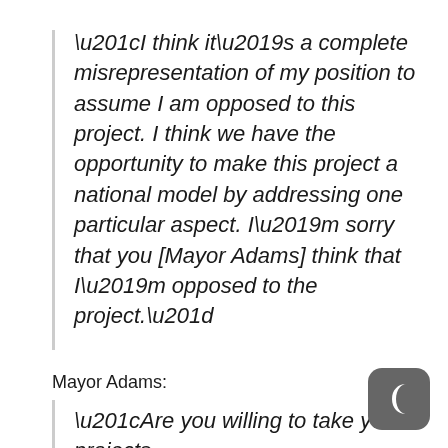“I think it’s a complete misrepresentation of my position to assume I am opposed to this project. I think we have the opportunity to make this project a national model by addressing one particular aspect. I’m sorry that you [Mayor Adams] think that I’m opposed to the project.”
Mayor Adams:
“Are you willing to take your projects